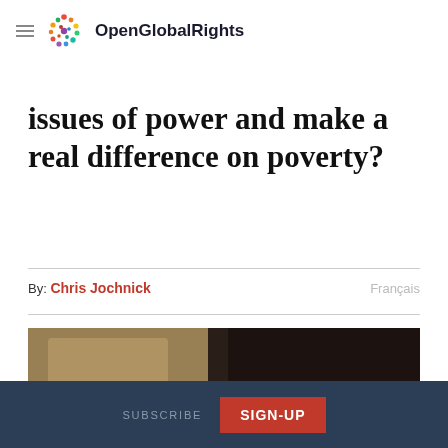OpenGlobalRights
issues of power and make a real difference on poverty?
By: Chris Jochnick   Français
[Figure (photo): Close-up photograph of an elderly person's worn, darkened hands resting on fabric, suggesting poverty and hardship.]
SUBSCRIBE  SIGN-UP